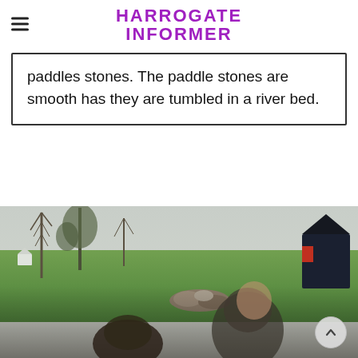HARROGATE INFORMER
paddles stones. The paddle stones are smooth has they are tumbled in a river bed.
[Figure (photo): Two people (a woman with dark hair and a man smiling) standing outdoors in a field/garden setting with trees, grass, rocks and a dark tent/structure in the background on an overcast day.]